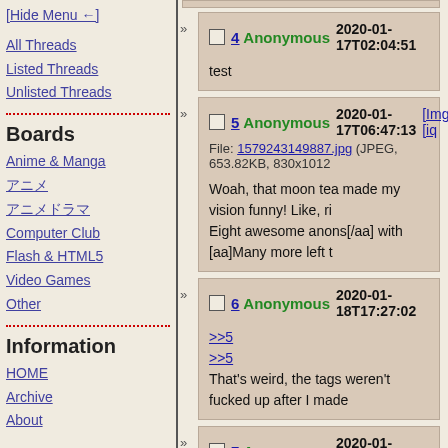[Hide Menu ←]
All Threads
Listed Threads
Unlisted Threads
Boards
Anime & Manga
アニメ
アニメドラマ
Computer Club
Flash & HTML5
Video Games
Other
Information
HOME
Archive
About
4 Anonymous 2020-01-17T02:04:51
test
5 Anonymous 2020-01-17T06:47:13 [ImgOps] [iq...]
File: 1579243149887.jpg (JPEG, 653.82KB, 830x1012...)
Woah, that moon tea made my vision funny! Like, rig... Eight awesome anons[/aa] with [aa]Many more left t...
6 Anonymous 2020-01-18T17:27:02
>>5
>>5
That's weird, the tags weren't fucked up after I made...
7 Anonymous 2020-01-22T03:00:27
I reposted it after I made some database adjustment...
8 Anonymous 2021-10-31T01:08:42
>>1-san